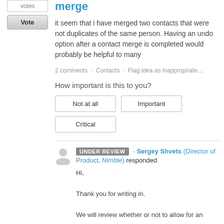votes
Vote
merge
it seem that i have merged two contacts that were not duplicates of the same person. Having an undo option after a contact merge is completed would probably be helpful to many
2 comments · Contacts · Flag idea as inappropriate…
How important is this to you?
Not at all
Important
Critical
UNDER REVIEW · Sergey Shvets (Director of Product, Nimble) responded
Hi,
Thank you for writing in.
We will review whether or not to allow for an